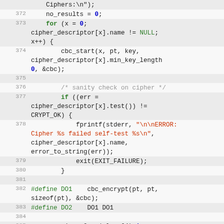[Figure (screenshot): Source code listing in C, lines 371-389, showing cipher benchmark code with CBC encryption, self-test error handling, and timing loop.]